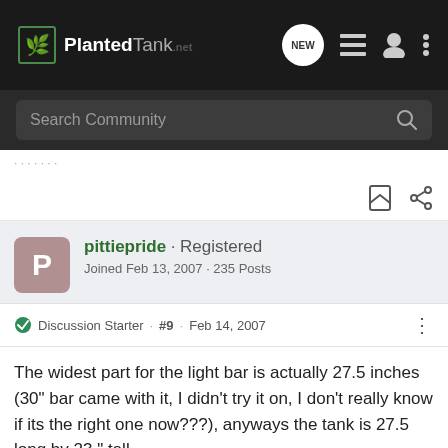PlantedTank - Search Community - NEW
Search Community
pittiepride · Registered
Joined Feb 13, 2007 · 235 Posts
Discussion Starter · #9 · Feb 14, 2007
The widest part for the light bar is actually 27.5 inches (30" bar came with it, I didn't try it on, I don't really know if its the right one now???), anyways the tank is 27.5 long by 23 " tall.
No, I didnt know about bc aquaria, will also look that up. I'm on